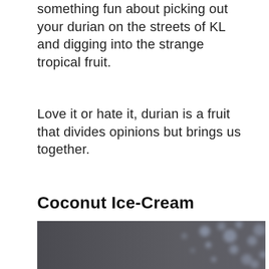something fun about picking out your durian on the streets of KL and digging into the strange tropical fruit.
Love it or hate it, durian is a fruit that divides opinions but brings us together.
Coconut Ice-Cream
[Figure (photo): Dark moody photo with bokeh light effects, appears to show a dimly lit scene with blurred circular lights on the right side, black and grey tones.]